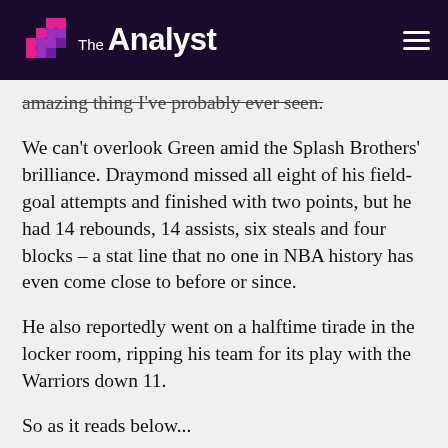The Analyst
amazing thing I've probably ever seen.
We can't overlook Green amid the Splash Brothers' brilliance. Draymond missed all eight of his field-goal attempts and finished with two points, but he had 14 rebounds, 14 assists, six steals and four blocks – a stat line that no one in NBA history has even come close to before or since.
He also reportedly went on a halftime tirade in the locker room, ripping his team for its play with the Warriors down 11.
So as it reads below...